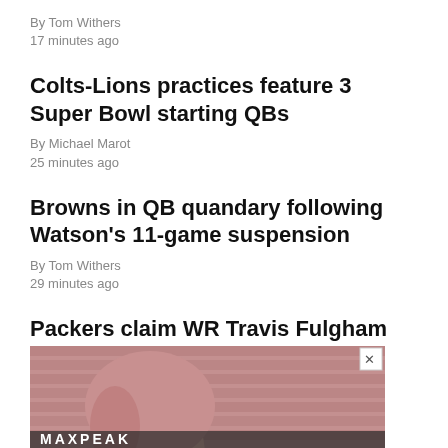By Tom Withers
17 minutes ago
Colts-Lions practices feature 3 Super Bowl starting QBs
By Michael Marot
25 minutes ago
Browns in QB quandary following Watson's 11-game suspension
By Tom Withers
29 minutes ago
Packers claim WR Travis Fulgham off waivers from Broncos
45 minutes ago
[Figure (photo): Advertisement banner with a woman's photo and text overlay, with a close (X) button in the top right corner.]